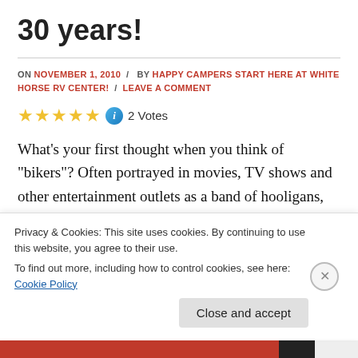30 years!
ON NOVEMBER 1, 2010 / BY HAPPY CAMPERS START HERE AT WHITE HORSE RV CENTER! / LEAVE A COMMENT
2 Votes
What's your first thought when you think of "bikers"? Often portrayed in movies, TV shows and other entertainment outlets as a band of hooligans, the reality
Privacy & Cookies: This site uses cookies. By continuing to use this website, you agree to their use. To find out more, including how to control cookies, see here: Cookie Policy
Close and accept